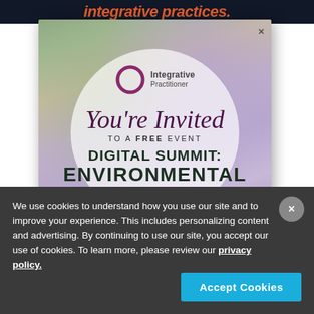integrative practices.
[Figure (illustration): Modal popup for Integrative Practitioner Digital Summit event invitation, showing a floral background with a circular white overlay, the Integrative Practitioner logo, script text 'You're Invited TO A FREE EVENT', 'DIGITAL SUMMIT:' and 'ENVIRONMENTAL' in bold dark green text. A close X button is in the upper right of the modal.]
Relate...
We use cookies to understand how you use our site and to improve your experience. This includes personalizing content and advertising. By continuing to use our site, you accept our use of cookies. To learn more, please review our privacy policy.
Accept Cookies